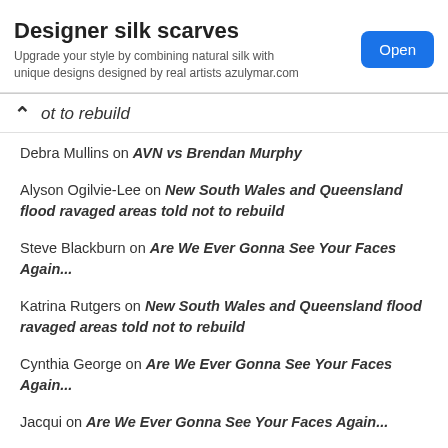[Figure (screenshot): Advertisement banner for Designer silk scarves from azulymar.com with an Open button]
ot to rebuild
Debra Mullins on AVN vs Brendan Murphy
Alyson Ogilvie-Lee on New South Wales and Queensland flood ravaged areas told not to rebuild
Steve Blackburn on Are We Ever Gonna See Your Faces Again...
Katrina Rutgers on New South Wales and Queensland flood ravaged areas told not to rebuild
Cynthia George on Are We Ever Gonna See Your Faces Again...
Jacqui on Are We Ever Gonna See Your Faces Again...
Alison Egleton on Are We Ever Gonna See Your Faces Again...
Jo Moi on Are We Ever Gonna See Your Faces Again...